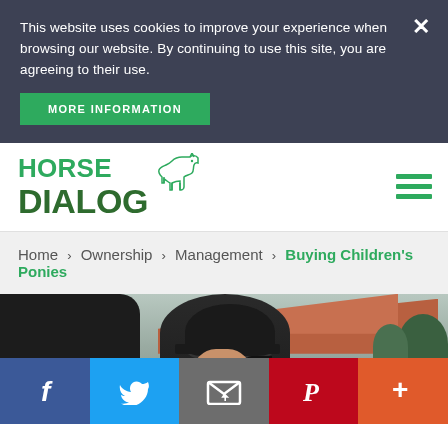This website uses cookies to improve your experience when browsing our website. By continuing to use this site, you are agreeing to their use.
MORE INFORMATION
[Figure (logo): Horse Dialog logo with horse icon and green text]
Home > Ownership > Management > Buying Children's Ponies
[Figure (photo): A child wearing a black riding helmet looking downward, with a dark horse visible on the left side and red roof tiles in the background]
[Figure (infographic): Social sharing bar with Facebook, Twitter, Email, Pinterest, and More buttons]